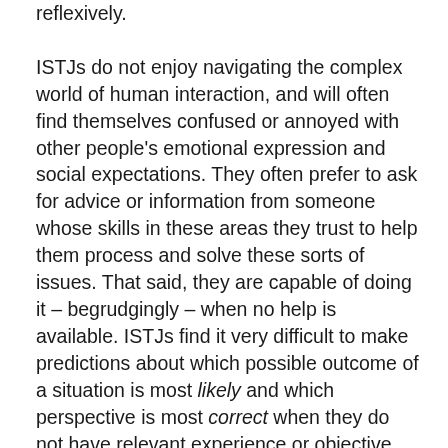reflexively. ISTJs do not enjoy navigating the complex world of human interaction, and will often find themselves confused or annoyed with other people's emotional expression and social expectations. They often prefer to ask for advice or information from someone whose skills in these areas they trust to help them process and solve these sorts of issues. That said, they are capable of doing it – begrudgingly – when no help is available. ISTJs find it very difficult to make predictions about which possible outcome of a situation is most likely and which perspective is most correct when they do not have relevant experience or objective information to refer to. Although they may, with much determination, be capable of developing a grand, ambitious vision for an unknown future endeavor it is not where